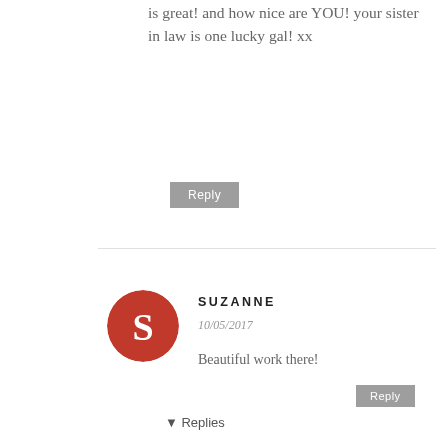is great! and how nice are YOU! your sister in law is one lucky gal! xx
Reply
SUZANNE
10/05/2017
Beautiful work there!
Reply
▾ Replies
[Figure (photo): Avatar of A Friend to Knit With - circular photo showing boots]
A FRIEND TO KNIT WITH
10/06/2017
well, thank you suzanne!